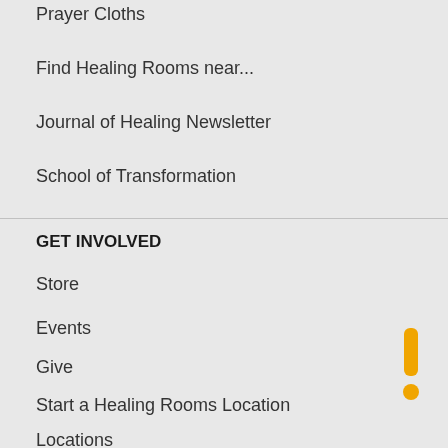Prayer Cloths
Find Healing Rooms near...
Journal of Healing Newsletter
School of Transformation
GET INVOLVED
Store
Events
Give
Start a Healing Rooms Location
Locations
Donate
Our Social Feeds